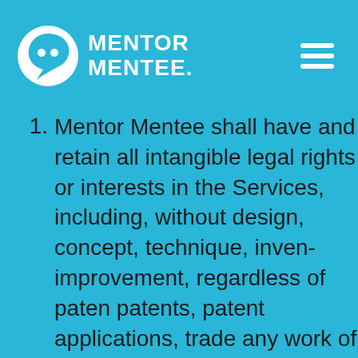MENTOR MENTEE
Mentor Mentee shall have and retain all intangible legal rights or interests in the Services, including, without design, concept, technique, inven improvement, regardless of paten patents, patent applications, trade any work of authorship, regardless including copyrights and any mor (c) any trademark, trade name, tra (d) any other similar rights, in each ("Intellectual Property Rights").
You shall not copy, reproduce, rep transmit, distribute, reverse engin translate, or modify the Services